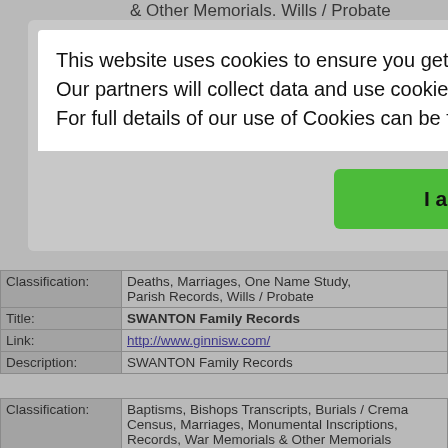& Other Memorials. Wills / Probate
One Na
nge/idxp
story
| Field | Value |
| --- | --- |
| Classification: | Deaths, Marriages, One Name Study, Parish Records, Wills / Probate |
| Title: | SWANTON Family Records |
| Link: | http://www.ginnisw.com/ |
| Description: | SWANTON Family Records |
| Field | Value |
| --- | --- |
| Classification: | Baptisms, Bishops Transcripts, Burials / Crema Census, Marriages, Monumental Inscriptions, Records, War Memorials & Other Memorials |
| Title: | UK Transcriptions Website |
| Link: | http://freepages.rootsweb.com/~uktranscriptio |
This website uses cookies to ensure you get the best experience on our website.
Our partners will collect data and use cookies for ad personalization and measurement.
For full details of our use of Cookies can be found in our  Privacy Policy
I accept